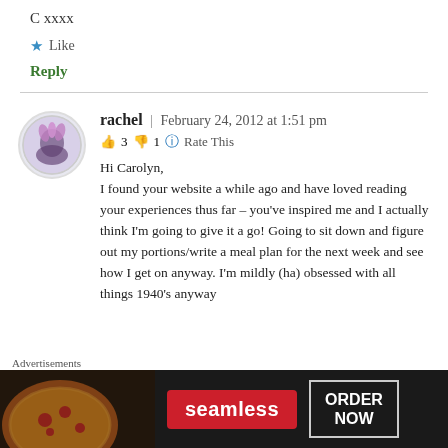C xxxx
★ Like
Reply
rachel | February 24, 2012 at 1:51 pm
👍 3 👎 1 ℹ Rate This
Hi Carolyn,
I found your website a while ago and have loved reading your experiences thus far – you've inspired me and I actually think I'm going to give it a go! Going to sit down and figure out my portions/write a meal plan for the next week and see how I get on anyway. I'm mildly (ha) obsessed with all things 1940's anyway
Advertisements
[Figure (screenshot): Seamless food delivery advertisement with pizza image, red Seamless logo button, and ORDER NOW button on dark background]